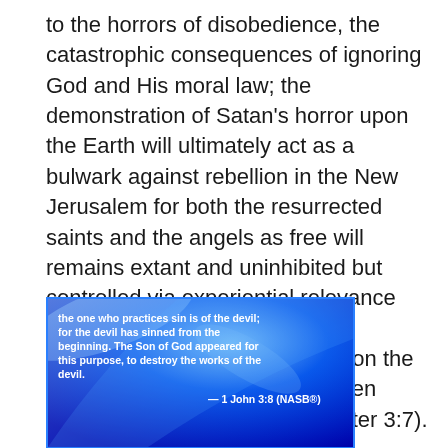to the horrors of disobedience, the catastrophic consequences of ignoring God and His moral law; the demonstration of Satan's horror upon the Earth will ultimately act as a bulwark against rebellion in the New Jerusalem for both the resurrected saints and the angels as free will remains extant and uninhibited but controlled via experiential relevance gained through 6000-years of observing Satan's deception upon the previous Earth that will have been purified by fire (John 8:44; 2 Peter 3:7).
[Figure (illustration): Blue glowing background image with white bold text quote: 'the one who practices sin is of the devil; for the devil has sinned from the beginning. The Son of God appeared for this purpose, to destroy the works of the devil.' attributed to '— 1 John 3:8 (NASB®)']